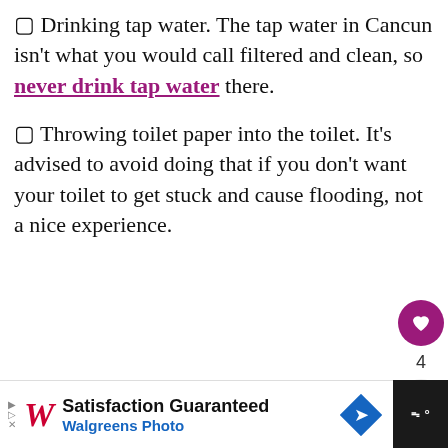☐ Drinking tap water. The tap water in Cancun isn't what you would call filtered and clean, so never drink tap water there.
☐ Throwing toilet paper into the toilet. It's advised to avoid doing that if you don't want your toilet to get stuck and cause flooding, not a nice experience.
[Figure (photo): Group of firefighters standing in front of a fire engine with 'Fire Dept' text visible, wearing dark uniforms]
WHAT'S NEXT → When is the best time to...
[Figure (infographic): Walgreens Photo advertisement: Satisfaction Guaranteed, Walgreens Photo, with Walgreens cursive W logo and blue diamond arrow icon]